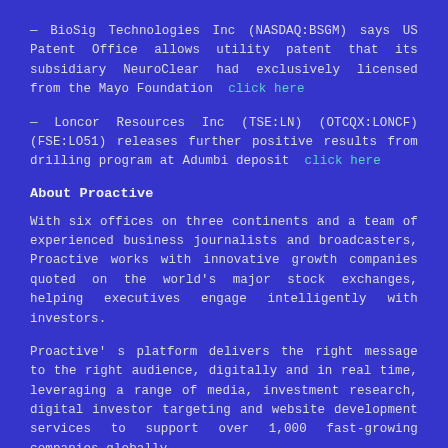— BioSig Technologies Inc (NASDAQ:BSGM) says US Patent Office allows utility patent that its subsidiary NeuroClear had exclusively licensed from the Mayo Foundation  click here
— Loncor Resources Inc (TSE:LN) (OTCQX:LONCF) (FSE:LO51) releases further positive results from drilling program at Adumbi deposit  click here
About Proactive
With six offices on three continents and a team of experienced business journalists and broadcasters, Proactive works with innovative growth companies quoted on the world's major stock exchanges, helping executives engage intelligently with investors.
Proactive's platform delivers the right message to the right audience, digitally and in real time, leveraging a range of media, investment research, digital investor targeting and website development services to support over 1,000 fast-growing companies globally.
Proactive's network reaches over 12 million engaged private, professional and institutional investors looking for opportunities.
Our written and video content is published on Proactive sites